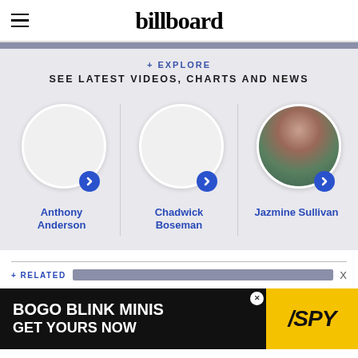billboard
+ EXPLORE
SEE LATEST VIDEOS, CHARTS AND NEWS
[Figure (illustration): Three circular artist profile images with chevron buttons. First two are blank white circles (Anthony Anderson and Chadwick Boseman), third shows a photo of Jazmine Sullivan (woman in pink).]
Anthony Anderson
Chadwick Boseman
Jazmine Sullivan
+ RELATED
[Figure (infographic): Advertisement banner: BOGO BLINK MINIS / GET YOURS NOW with SPY logo on yellow background]